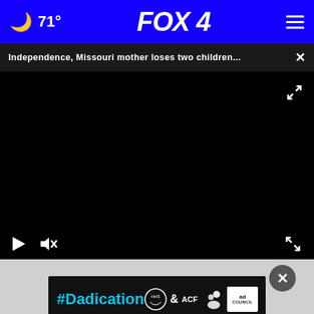🌙 71° | FOX 4 | ☰
Independence, Missouri mother loses two children...  ×
[Figure (screenshot): Black video player area with play button, mute button, and fullscreen icons on controls bar at bottom]
[Figure (other): Advertisement banner: #Dadication with HHS, ACF, National Responsible Fatherhood Clearinghouse, and Ad Council logos]